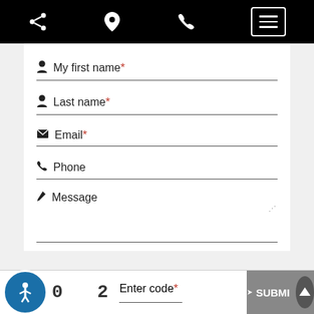[Figure (screenshot): Mobile app top navigation bar with share, location pin, phone, and hamburger menu icons on black background]
My first name*
Last name*
Email*
Phone
Message
Enter code*
SUBMIT